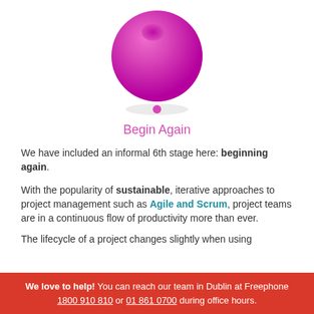[Figure (illustration): A large magenta/pink 3D sphere with a dimple on top, and a small pink dot below it, indicating a stage node called 'Begin Again']
Begin Again
We have included an informal 6th stage here: beginning again.
With the popularity of sustainable, iterative approaches to project management such as Agile and Scrum, project teams are in a continuous flow of productivity more than ever.
The lifecycle of a project changes slightly when using the...
We love to help! You can reach our team in Dublin at Freephone 1800 910 810 or 01 861 0700 during office hours.